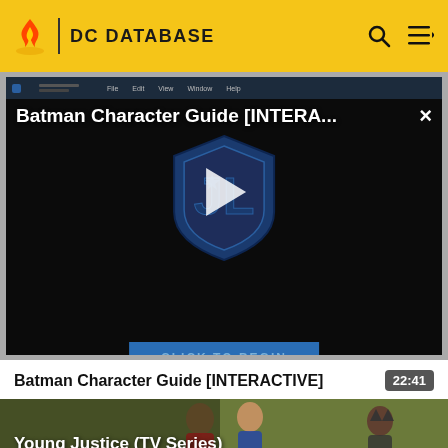DC DATABASE
[Figure (screenshot): Video player showing Batman Character Guide [INTERA...] with Justice League shield logo, play button overlay, and CLICK TO BEGIN button on dark background]
Batman Character Guide [INTERACTIVE]
22:41
[Figure (screenshot): Banner image for Young Justice (TV Series) on DC Database showing animated superhero characters]
Young Justice (TV Series)
DC Database